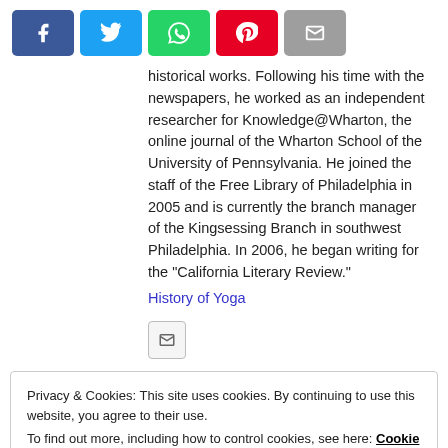[Figure (screenshot): Social media share buttons: Facebook (blue), Twitter (light blue), WhatsApp (green), Pinterest (red), Email (grey)]
historical works. Following his time with the newspapers, he worked as an independent researcher for Knowledge@Wharton, the online journal of the Wharton School of the University of Pennsylvania. He joined the staff of the Free Library of Philadelphia in 2005 and is currently the branch manager of the Kingsessing Branch in southwest Philadelphia. In 2006, he began writing for the "California Literary Review." History of Yoga
[Figure (screenshot): Email icon button (envelope icon in a small rounded rectangle box)]
Privacy & Cookies: This site uses cookies. By continuing to use this website, you agree to their use.
To find out more, including how to control cookies, see here: Cookie Policy
Close and accept